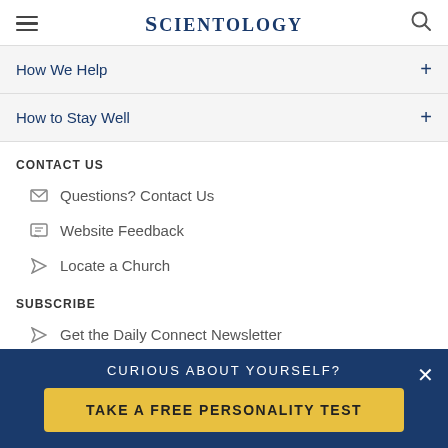SCIENTOLOGY
How We Help
How to Stay Well
CONTACT US
Questions? Contact Us
Website Feedback
Locate a Church
SUBSCRIBE
Get the Daily Connect Newsletter
Get the Scientology Today Newsletter
Language
CURIOUS ABOUT YOURSELF?
TAKE A FREE PERSONALITY TEST